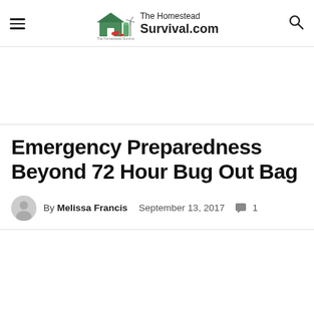The Homestead Survival.com
Emergency Preparedness Beyond 72 Hour Bug Out Bag
By Melissa Francis   September 13, 2017   1